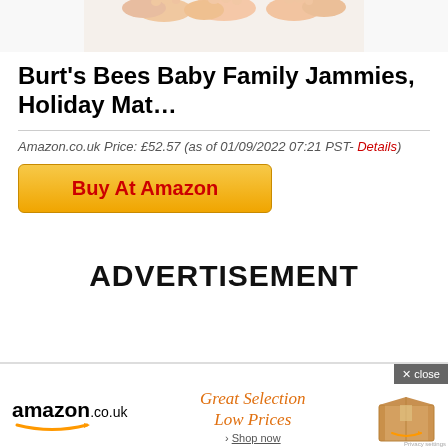[Figure (photo): Partial image of family feet, cropped at top of page]
Burt's Bees Baby Family Jammies, Holiday Mat…
Amazon.co.uk Price: £52.57 (as of 01/09/2022 07:21 PST- Details)
Buy At Amazon
ADVERTISEMENT
[Figure (screenshot): Amazon.co.uk advertisement banner with logo, 'Great Selection Low Prices › Shop now' text, and a cardboard box image. Close button in top-right corner.]